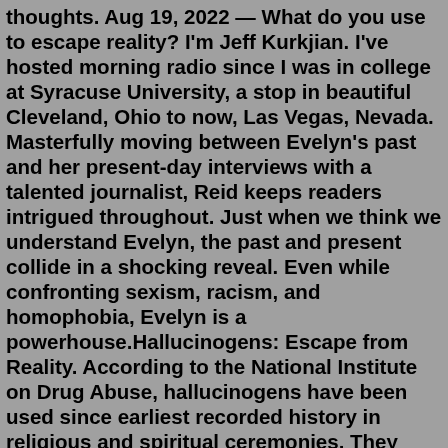thoughts. Aug 19, 2022 — What do you use to escape reality? I'm Jeff Kurkjian. I've hosted morning radio since I was in college at Syracuse University, a stop in beautiful Cleveland, Ohio to now, Las Vegas, Nevada. Masterfully moving between Evelyn's past and her present-day interviews with a talented journalist, Reid keeps readers intrigued throughout. Just when we think we understand Evelyn, the past and present collide in a shocking reveal. Even while confronting sexism, racism, and homophobia, Evelyn is a powerhouse.Hallucinogens: Escape from Reality. According to the National Institute on Drug Abuse, hallucinogens have been used since earliest recorded history in religious and spiritual ceremonies. They were believed to allow a connection to the spirit world and prepare warriors for battle by ancient civilizations. However, beginning in the mid-1900s ... HELLO. I started this page with the goal of offering readers an escape from reality. What will start out as weekly posts hopefully will evolve into a dynamic site packed with stories about various topics that will